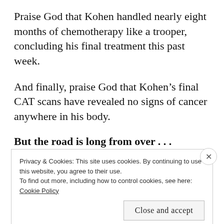Praise God that Kohen handled nearly eight months of chemotherapy like a trooper, concluding his final treatment this past week.
And finally, praise God that Kohen’s final CAT scans have revealed no signs of cancer anywhere in his body.
But the road is long from over . . .
Privacy & Cookies: This site uses cookies. By continuing to use this website, you agree to their use.
To find out more, including how to control cookies, see here: Cookie Policy
Close and accept